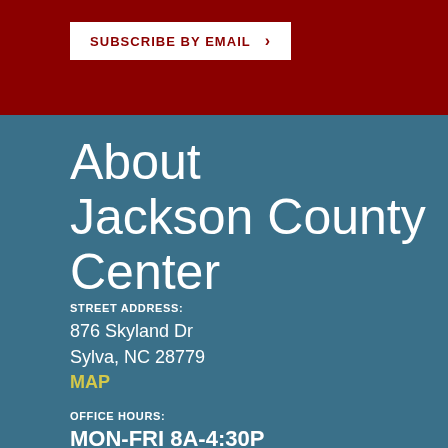SUBSCRIBE BY EMAIL >
About Jackson County Center
STREET ADDRESS:
876 Skyland Dr
Sylva, NC 28779
MAP
OFFICE HOURS:
MON-FRI 8A-4:30P
(828) 586-4009
jackson.ces.ncsu.edu